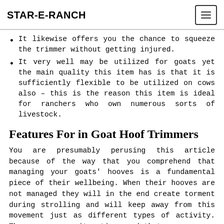STAR-E-RANCH
It likewise offers you the chance to squeeze the trimmer without getting injured.
It very well may be utilized for goats yet the main quality this item has is that it is sufficiently flexible to be utilized on cows also – this is the reason this item is ideal for ranchers who own numerous sorts of livestock.
Features For in Goat Hoof Trimmers
You are presumably perusing this article because of the way that you comprehend that managing your goats' hooves is a fundamental piece of their wellbeing. When their hooves are not managed they will in the end create torment during strolling and will keep away from this movement just as different types of activity. They may even quit eating, and that